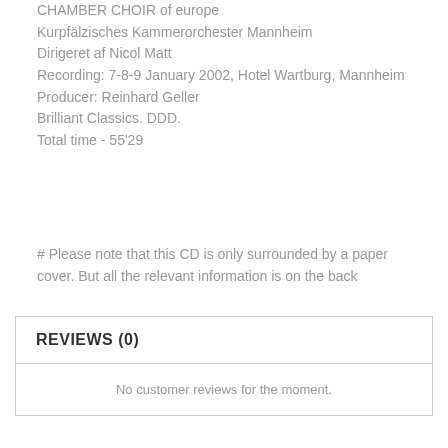CHAMBER CHOIR of europe
Kurpfälzisches Kammerorchester Mannheim
Dirigeret af Nicol Matt
Recording: 7-8-9 January 2002, Hotel Wartburg, Mannheim
Producer: Reinhard Geller
Brilliant Classics. DDD.
Total time - 55'29
# Please note that this CD is only surrounded by a paper cover. But all the relevant information is on the back
REVIEWS (0)
No customer reviews for the moment.